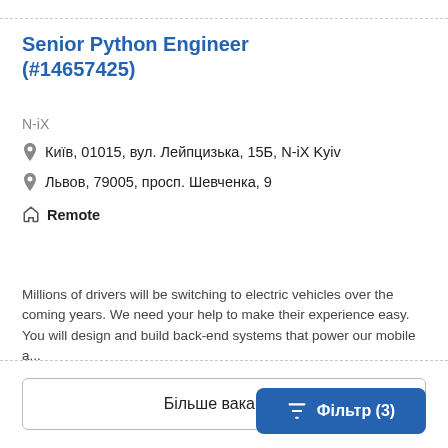Senior Python Engineer (#14657425)
N-iX
Київ, 01015, вул. Лейпцизька, 15Б, N-iX Kyiv
Львов, 79005, просп. Шевченка, 9
Remote
Millions of drivers will be switching to electric vehicles over the coming years. We need your help to make their experience easy. You will design and build back-end systems that power our mobile a...
Більше вакансій
Фільтр (3)